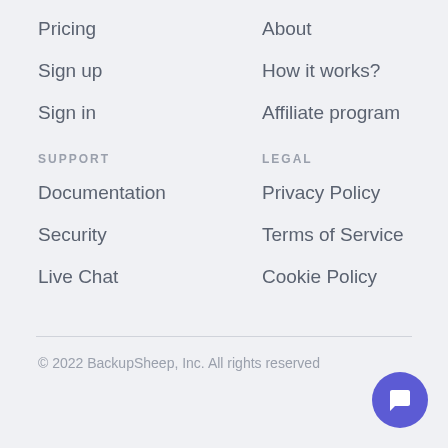Pricing
Sign up
Sign in
About
How it works?
Affiliate program
SUPPORT
LEGAL
Documentation
Security
Live Chat
Privacy Policy
Terms of Service
Cookie Policy
© 2022 BackupSheep, Inc. All rights reserved